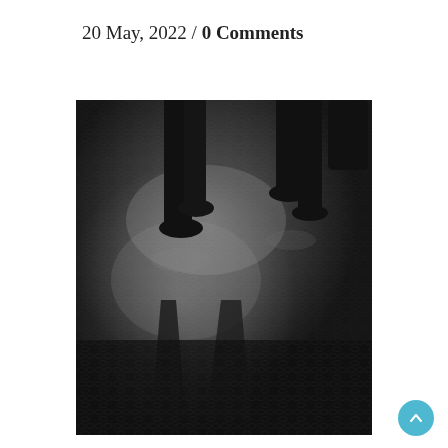20 May, 2022 / 0 Comments
[Figure (photo): Black and white photograph of people walking on wet cobblestone street, showing only their legs and shadows reflected on the glistening pavement.]